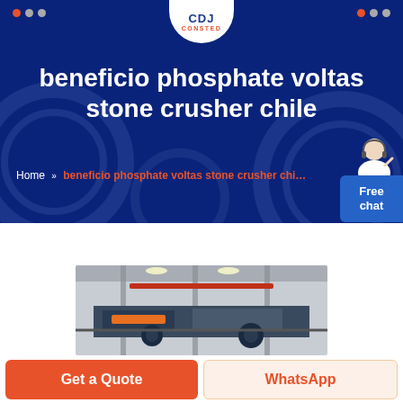[Figure (screenshot): CONSTED company logo in white oval/badge shape at top center of dark blue hero banner]
beneficio phosphate voltas stone crusher chile
Home » beneficio phosphate voltas stone crusher chile
[Figure (photo): Factory interior showing industrial stone crushing machinery and equipment in a large warehouse]
Get a Quote
WhatsApp